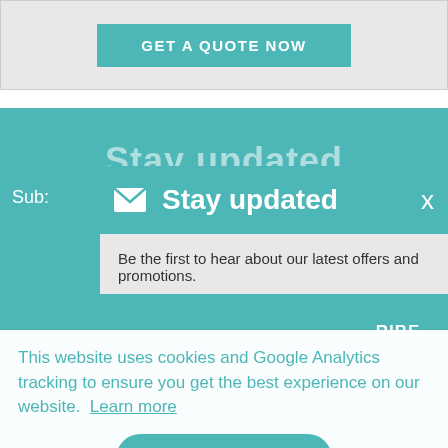GET A QUOTE NOW
Stay updated
Sub:
✉ Stay updated
Be the first to hear about our latest offers and promotions.
RIBE
This website uses cookies and Google Analytics tracking to ensure you get the best experience on our website. Learn more
Got it!